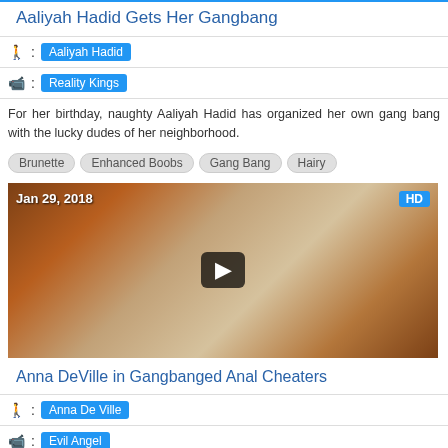Aaliyah Hadid Gets Her Gangbang
Person icon : Aaliyah Hadid
Camera icon : Reality Kings
For her birthday, naughty Aaliyah Hadid has organized her own gang bang with the lucky dudes of her neighborhood.
Brunette
Enhanced Boobs
Gang Bang
Hairy
[Figure (photo): Thumbnail image with date Jan 29, 2018 and HD badge, play button overlay]
Anna DeVille in Gangbanged Anal Cheaters
Person icon : Anna De Ville
Camera icon : Evil Angel